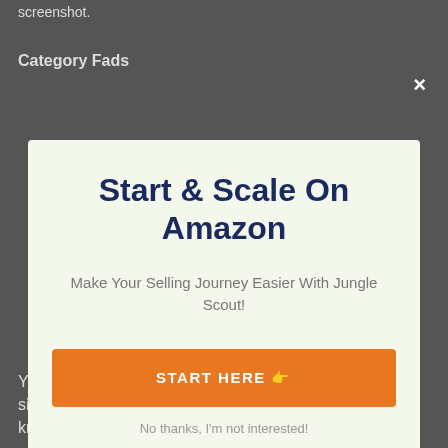screenshot.
Category Fads
[Figure (screenshot): Modal popup overlay on a website with a dark gray background. Contains a close (×) button in the top right. The modal has a light green-white background and displays a call-to-action for Jungle Scout Amazon selling tool.]
Start & Scale On Amazon
Make Your Selling Journey Easier With Jungle Scout!
START HERE 👉
No thanks, I'm not interested!
You already understand that Jungle Scout has a significant checklist of distributors but you would like to know exactly how the suppliers are...